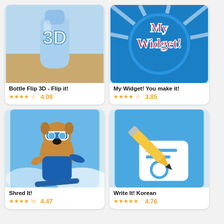[Figure (screenshot): App icon for Bottle Flip 3D showing a 3D bottle with '3D' text on blue background]
Bottle Flip 3D - Flip it!
4.08
[Figure (screenshot): App icon for My Widget! You make it! showing colorful Widget text on blue radial background]
My Widget! You make it!
3.85
[Figure (screenshot): App icon for Shred It! showing cartoon snowboarding dog character]
Shred It!
4.47
[Figure (screenshot): App icon for Write It! Korean showing a pencil on blue background with Korean writing interface]
Write It! Korean
4.76